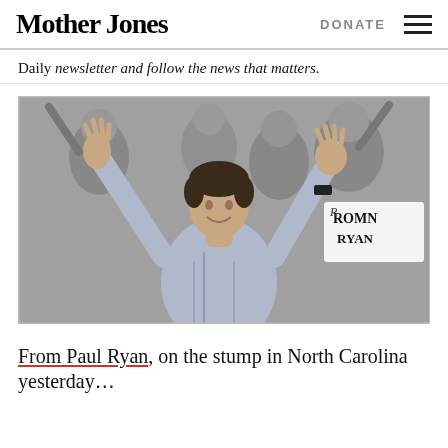Mother Jones   DONATE
Daily newsletter and follow the news that matters.
[Figure (photo): Paul Ryan on campaign trail, both hands raised waving, wearing a light blue checkered shirt, with crowd and Romney Ryan campaign sign visible in background (black and white photo)]
From Paul Ryan, on the stump in North Carolina yesterday…